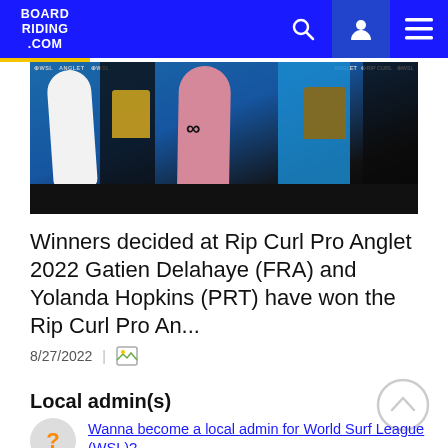BOARDRIDING.COM
[Figure (photo): Surf competition award ceremony photo showing surfboards (white and pink) and trophies, with WSL and Rip Curl sponsor branding in the background]
Winners decided at Rip Curl Pro Anglet 2022 Gatien Delahaye (FRA) and Yolanda Hopkins (PRT) have won the Rip Curl Pro An...
8/27/2022
Local admin(s)
Wanna become a local admin for World Surf League (WSL)?